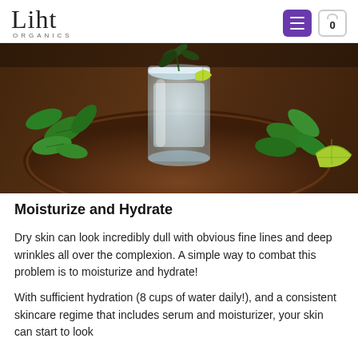Liht Organics
[Figure (photo): A glass of water or drink with ice and lime slices on a wooden board, surrounded by fresh mint leaves.]
Moisturize and Hydrate
Dry skin can look incredibly dull with obvious fine lines and deep wrinkles all over the complexion. A simple way to combat this problem is to moisturize and hydrate!
With sufficient hydration (8 cups of water daily!), and a consistent skincare regime that includes serum and moisturizer, your skin can start to look